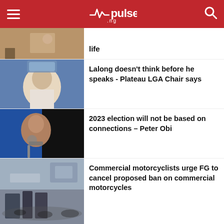pulse .ng
life
Lalong doesn't think before he speaks - Plateau LGA Chair says
2023 election will not be based on connections – Peter Obi
Commercial motorcyclists urge FG to cancel proposed ban on commercial motorcycles